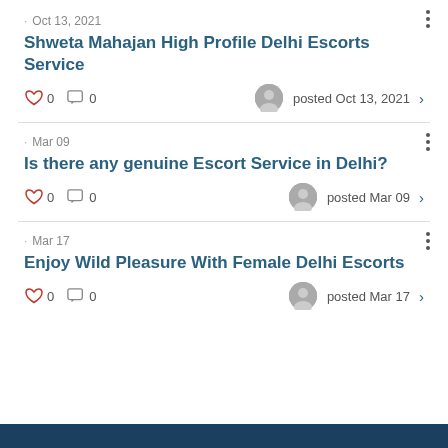· Oct 13, 2021
Shweta Mahajan High Profile Delhi Escorts Service
0  0  posted Oct 13, 2021 >
· Mar 09
Is there any genuine Escort Service in Delhi?
0  0  posted Mar 09 >
· Mar 17
Enjoy Wild Pleasure With Female Delhi Escorts
0  0  posted Mar 17 >